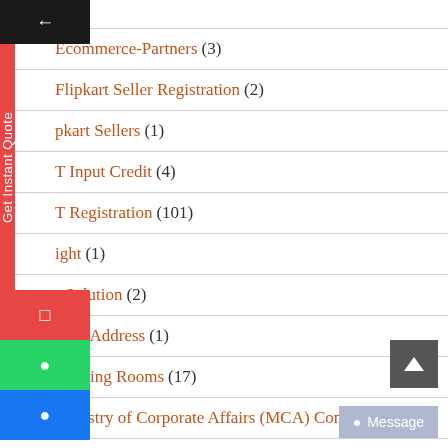Ecommerce-Partners (3)
Flipkart Seller Registration (2)
Flipkart Sellers (1)
GST Input Credit (4)
GST Registration (101)
Highlight (1)
HR Solution (2)
Mailing Address (1)
Meeting Rooms (17)
Ministry of Corporate Affairs (MCA) Comp…